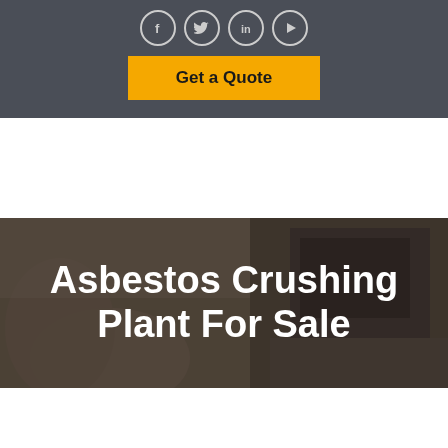[Figure (other): Dark grey header bar with four circular social media icons (Facebook, Twitter, LinkedIn, YouTube) and a yellow 'Get a Quote' button below them]
[Figure (photo): Background photo of a living room interior with fireplace and cushions, overlaid with semi-transparent dark filter. Large white bold text reads 'Asbestos Crushing Plant For Sale']
Asbestos Crushing Plant For Sale